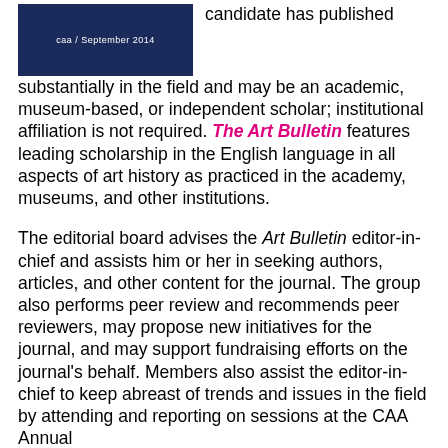[Figure (other): CAA journal cover image showing dark blue background with 'caa / September 2014' text]
candidate has published substantially in the field and may be an academic, museum-based, or independent scholar; institutional affiliation is not required. The Art Bulletin features leading scholarship in the English language in all aspects of art history as practiced in the academy, museums, and other institutions.
The editorial board advises the Art Bulletin editor-in-chief and assists him or her in seeking authors, articles, and other content for the journal. The group also performs peer review and recommends peer reviewers, may propose new initiatives for the journal, and may support fundraising efforts on the journal's behalf. Members also assist the editor-in-chief to keep abreast of trends and issues in the field by attending and reporting on sessions at the CAA Annual